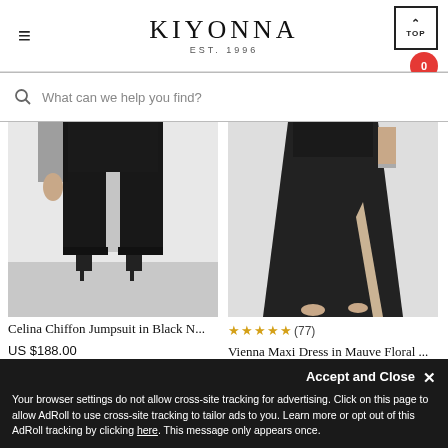KIYONNA EST. 1996
What can we help you find?
[Figure (photo): Celina Chiffon Jumpsuit in black — lower body view showing wide-leg black chiffon pants and heels on light background]
[Figure (photo): Vienna Maxi Dress in Mauve Floral — torso and skirt view of black maxi dress with slit on light background]
★ ★ ★ ★ ★ (77)
Celina Chiffon Jumpsuit in Black N...
US $188.00
Vienna Maxi Dress in Mauve Floral ...
US $128.00
Accept and Close ✕
Your browser settings do not allow cross-site tracking for advertising. Click on this page to allow AdRoll to use cross-site tracking to tailor ads to you. Learn more or opt out of this AdRoll tracking by clicking here. This message only appears once.